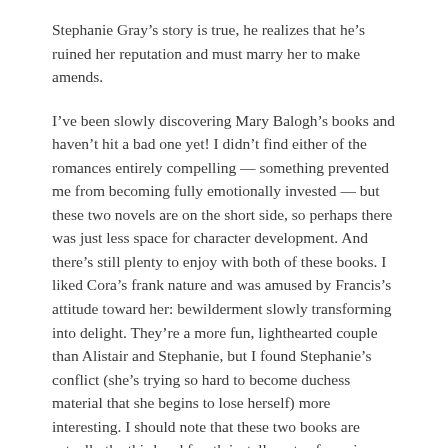Stephanie Gray’s story is true, he realizes that he’s ruined her reputation and must marry her to make amends.
I’ve been slowly discovering Mary Balogh’s books and haven’t hit a bad one yet! I didn’t find either of the romances entirely compelling — something prevented me from becoming fully emotionally invested — but these two novels are on the short side, so perhaps there was just less space for character development. And there’s still plenty to enjoy with both of these books. I liked Cora’s frank nature and was amused by Francis’s attitude toward her: bewilderment slowly transforming into delight. They’re a more fun, lighthearted couple than Alistair and Stephanie, but I found Stephanie’s conflict (she’s trying so hard to become duchess material that she begins to lose herself) more interesting. I should note that these two books are actually the third and fourth installments of a series that starts with Dark Angel and Lord Carew’s Bride; the heroes and heroines of those books appear in both of these, as